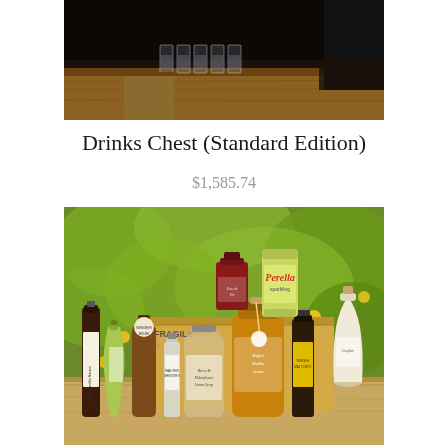[Figure (photo): Top portion of a product photo showing shot glasses arranged on a wooden surface with dark background]
Drinks Chest (Standard Edition)
$1,585.74
[Figure (photo): Photo of the Drinks Chest Standard Edition product showing a cardboard box labeled FRAGILE surrounded by various bottles including Perella sparkling water, liqueur bottles, miniature spirits, syrups, and other gourmet drinks arranged on a wooden surface with green foliage background]